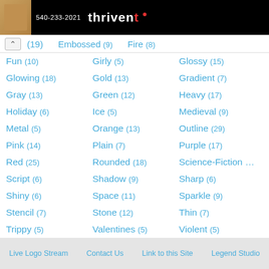[Figure (photo): Thrivent advertisement banner with phone number 540-233-2021 and Thrivent logo on black background]
(19) Embossed (9) Fire (8)
Fun (10)
Girly (5)
Glossy (15)
Glowing (18)
Gold (13)
Gradient (7)
Gray (13)
Green (12)
Heavy (17)
Holiday (6)
Ice (5)
Medieval (9)
Metal (5)
Orange (13)
Outline (29)
Pink (14)
Plain (7)
Purple (17)
Red (25)
Rounded (18)
Science-Fiction ...
Script (6)
Shadow (9)
Sharp (6)
Shiny (6)
Space (11)
Sparkle (9)
Stencil (7)
Stone (12)
Thin (7)
Trippy (5)
Valentines (5)
Violent (5)
White (10)
Yellow (13)
Live Logo Stream   Contact Us   Link to this Site   Legend Studio